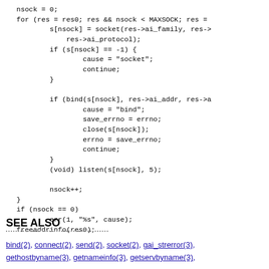nsock = 0;
    for (res = res0; res && nsock < MAXSOCK; res =
            s[nsock] = socket(res->ai_family, res->
                res->ai_protocol);
            if (s[nsock] == -1) {
                    cause = "socket";
                    continue;
            }

            if (bind(s[nsock], res->ai_addr, res->a
                    cause = "bind";
                    save_errno = errno;
                    close(s[nsock]);
                    errno = save_errno;
                    continue;
            }
            (void) listen(s[nsock], 5);

            nsock++;
    }
    if (nsock == 0)
            err(1, "%s", cause);
    freeaddrinfo(res0);
SEE ALSO
bind(2), connect(2), send(2), socket(2), gai_strerror(3), gethostbyname(3), getnameinfo(3), getservbyname(3),